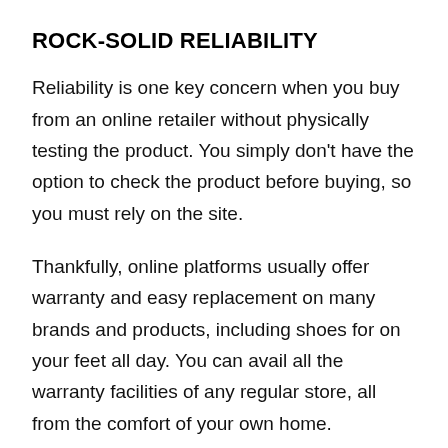ROCK-SOLID RELIABILITY
Reliability is one key concern when you buy from an online retailer without physically testing the product. You simply don't have the option to check the product before buying, so you must rely on the site.
Thankfully, online platforms usually offer warranty and easy replacement on many brands and products, including shoes for on your feet all day. You can avail all the warranty facilities of any regular store, all from the comfort of your own home.